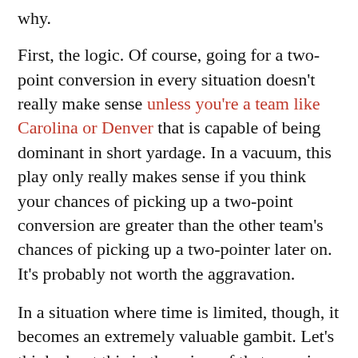why.
First, the logic. Of course, going for a two-point conversion in every situation doesn't really make sense unless you're a team like Carolina or Denver that is capable of being dominant in short yardage. In a vacuum, this play only really makes sense if you think your chances of picking up a two-point conversion are greater than the other team's chances of picking up a two-pointer later on. It's probably not worth the aggravation.
In a situation where time is limited, though, it becomes an extremely valuable gambit. Let's think about this in the prism of that amazing Giants-Packers game from Sunday afternoon. When the Packers scored on a Donald Driver catch with 3:34 left, they went up 34-27 before the extra point. Kicking would give them a 35-27 lead, forcing the Giants to bring the field goal kicker out to score a point...